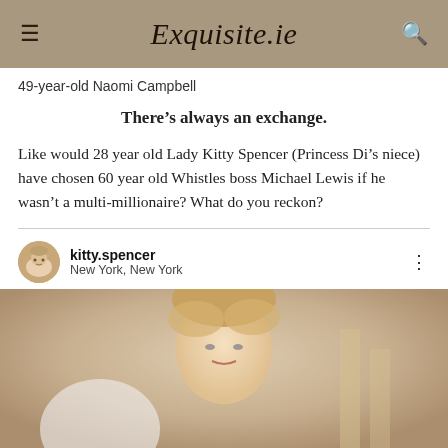Exquisite.ie
49-year-old Naomi Campbell
There’s always an exchange.
Like would 28 year old Lady Kitty Spencer (Princess Di’s niece) have chosen 60 year old Whistles boss Michael Lewis if he wasn’t a multi-millionaire? What do you reckon?
[Figure (screenshot): Instagram post header showing kitty.spencer account, New York, New York location, and profile avatar photo of a blonde woman]
[Figure (photo): Photo of a blonde woman (Lady Kitty Spencer) looking at camera, appears to be from an Instagram post]